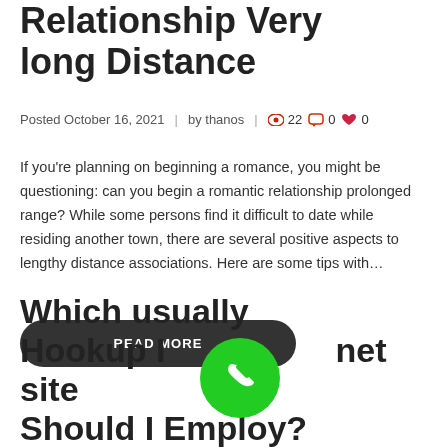Relationship Very long Distance
Posted October 16, 2021 | by thanos | 👁 22 💬 0 ❤ 0
If you're planning on beginning a romance, you might be questioning: can you begin a romantic relationship prolonged range? While some persons find it difficult to date while residing another town, there are several positive aspects to lengthy distance associations. Here are some tips with…
READ MORE
Which usually Hookup Internet site Should I Employ?